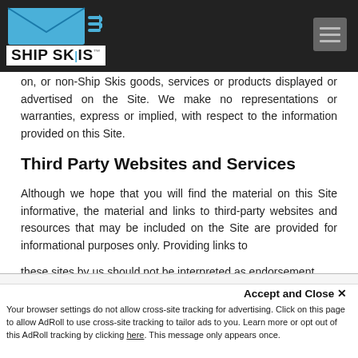Ship Skis - navigation header
on, or non-Ship Skis goods, services or products displayed or advertised on the Site. We make no representations or warranties, express or implied, with respect to the information provided on this Site.
Third Party Websites and Services
Although we hope that you will find the material on this Site informative, the material and links to third-party websites and resources that may be included on the Site are provided for informational purposes only. Providing links to these sites by us should not be interpreted as endorsement
By clicking “Accept All Cookies”, you agree to the storing of cookies on your device to enhance site navigation, analyze site usage, and assist in our marketing efforts.
Accept and Close ×
Your browser settings do not allow cross-site tracking for advertising. Click on this page to allow AdRoll to use cross-site tracking to tailor ads to you. Learn more or opt out of this AdRoll tracking by clicking here. This message only appears once.